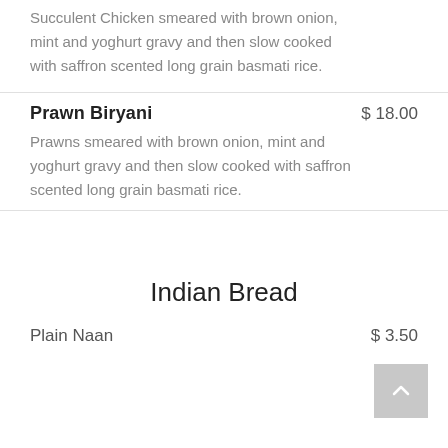Succulent Chicken smeared with brown onion, mint and yoghurt gravy and then slow cooked with saffron scented long grain basmati rice.
Prawn Biryani
$ 18.00
Prawns smeared with brown onion, mint and yoghurt gravy and then slow cooked with saffron scented long grain basmati rice.
Indian Bread
Plain Naan
$ 3.50